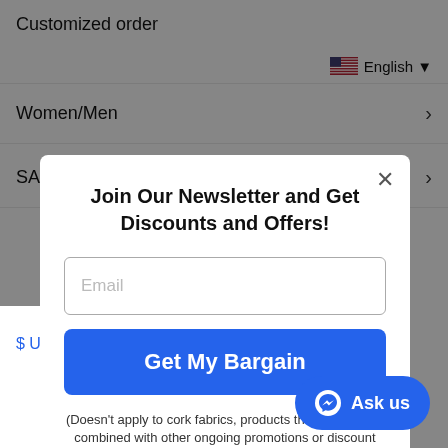Customized order
English
Women/Men >
SALE >
Join Our Newsletter and Get Discounts and Offers!
Email
Get My Bargain
(Doesn't apply to cork fabrics, products that are already combined with other ongoing promotions or discount codes.)
$ USD
Ask us